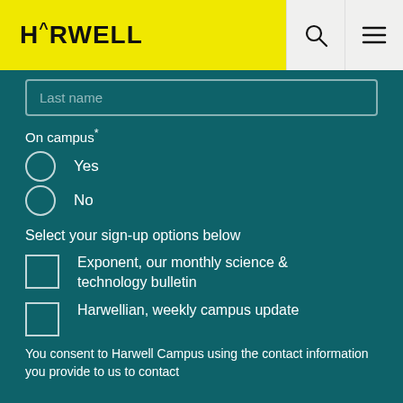HARWELL
Last name
On campus*
Yes
No
Select your sign-up options below
Exponent, our monthly science & technology bulletin
Harwellian, weekly campus update
You consent to Harwell Campus using the contact information you provide to us to contact